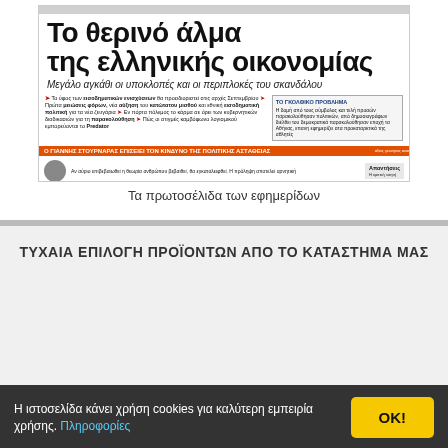[Figure (screenshot): Greek newspaper front page showing headline 'Το θερινό άλμα της ελληνικής οικονομίας' with subtitle 'Μεγάλο αγκάθι οι υποκλοπές και οι περιπλοκές του σκανδάλου']
Τα πρωτοσέλιδα των εφημερίδων
ΤΥΧΑΙΑ ΕΠΙΛΟΓΗ ΠΡΟΪΟΝΤΩΝ ΑΠΟ ΤΟ ΚΑΤΑΣΤΗΜΑ ΜΑΣ
ONLINE ΣΕΜΙΝΑΡΙΑ
Η ιστοσελίδα κάνει χρήση cookies για καλύτερη εμπειρία χρήσης. Πληροφορίες   ΟΚ!